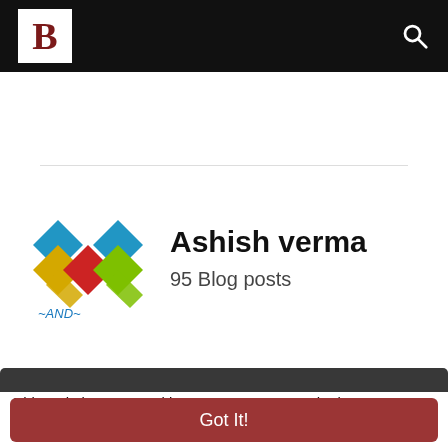B [logo] [search icon]
[Figure (logo): Colorful M-shaped logo made of diamond shapes in blue, yellow, red, and green with text 'AND' below]
Ashish verma
95 Blog posts
This website uses cookies to ensure you get the best experience on our website. Learn More
Got It!